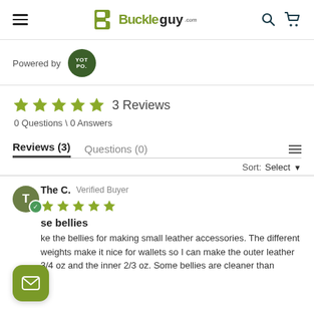Buckleguy.com
Powered by YOTPO
★★★★★ 3 Reviews
0 Questions \ 0 Answers
Reviews (3)   Questions (0)
Sort: Select
The C.  Verified Buyer
★★★★★
se bellies
ke the bellies for making small leather accessories. The different weights make it nice for wallets so I can make the outer leather 3/4 oz and the inner 2/3 oz. Some bellies are cleaner than